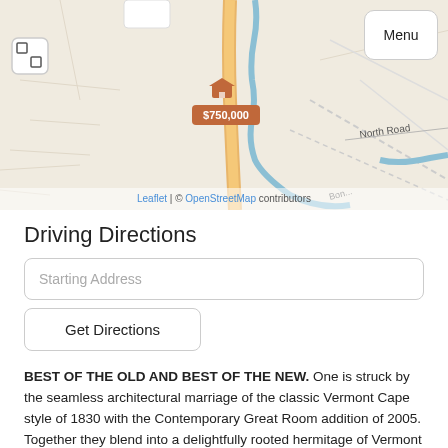[Figure (map): Street map showing a property location marked with a house icon and price tag of $750,000. A road runs vertically through the map (highlighted in orange/yellow). A river/stream runs alongside. North Road is labeled on the right side. Bon... road label visible at bottom. Map attribution: Leaflet | © OpenStreetMap contributors.]
Driving Directions
Starting Address
Get Directions
BEST OF THE OLD AND BEST OF THE NEW. One is struck by the seamless architectural marriage of the classic Vermont Cape style of 1830 with the Contemporary Great Room addition of 2005. Together they blend into a delightfully rooted hermitage of Vermont life on a 4.3 acre parcel bounded by a sparkling upstream tributary of the